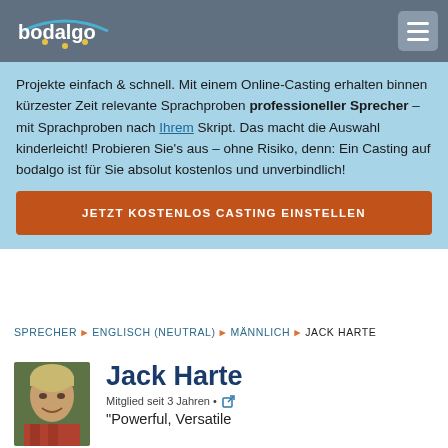bodalgo
Projekte einfach & schnell. Mit einem Online-Casting erhalten binnen kürzester Zeit relevante Sprachproben professioneller Sprecher – mit Sprachproben nach Ihrem Skript. Das macht die Auswahl kinderleicht! Probieren Sie's aus – ohne Risiko, denn: Ein Casting auf bodalgo ist für Sie absolut kostenlos und unverbindlich!
JETZT KOSTENLOS CASTING EINSTELLEN
SPRECHER ▶ ENGLISCH (NEUTRAL) ▶ MÄNNLICH ▶ JACK HARTE
Jack Harte
Mitglied seit 3 Jahren •
"Powerful, Versatile